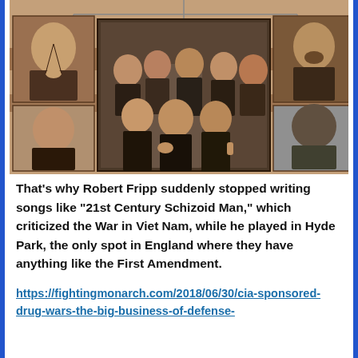[Figure (photo): Composite sepia-toned image showing several historical portrait photographs arranged in a grid/organizational-chart style layout. Corner portraits show individual men in formal attire. Central photograph shows a group of men standing together.]
That’s why Robert Fripp suddenly stopped writing songs like “21st Century Schizoid Man,” which criticized the War in Viet Nam, while he played in Hyde Park, the only spot in England where they have anything like the First Amendment.
https://fightingmonarch.com/2018/06/30/cia-sponsored-drug-wars-the-big-business-of-defense-